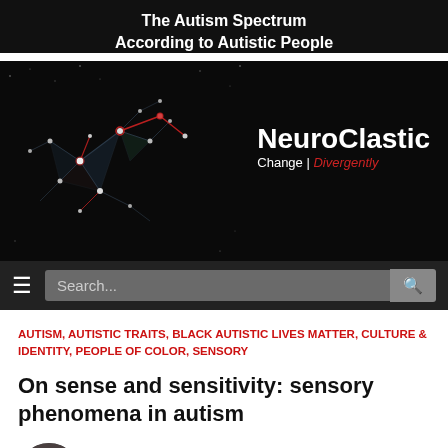The Autism Spectrum According to Autistic People
[Figure (logo): NeuroClastic website logo with neural network graphic on black background. Text reads: NeuroClastic — Change | Divergently]
[Figure (screenshot): Website search bar with hamburger menu icon on dark background]
AUTISM, AUTISTIC TRAITS, BLACK AUTISTIC LIVES MATTER, CULTURE & IDENTITY, PEOPLE OF COLOR, SENSORY
On sense and sensitivity: sensory phenomena in autism
By Michaela Morgan